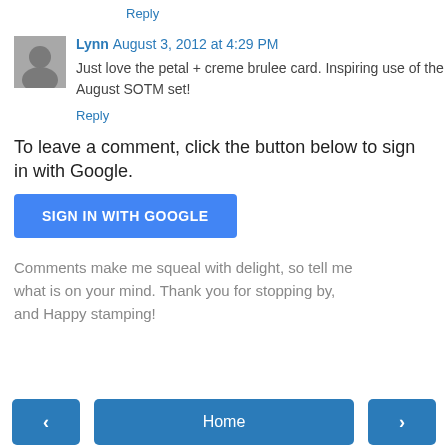Reply
Lynn  August 3, 2012 at 4:29 PM
Just love the petal + creme brulee card. Inspiring use of the August SOTM set!
Reply
To leave a comment, click the button below to sign in with Google.
[Figure (other): SIGN IN WITH GOOGLE button]
Comments make me squeal with delight, so tell me what is on your mind. Thank you for stopping by, and Happy stamping!
< Home >